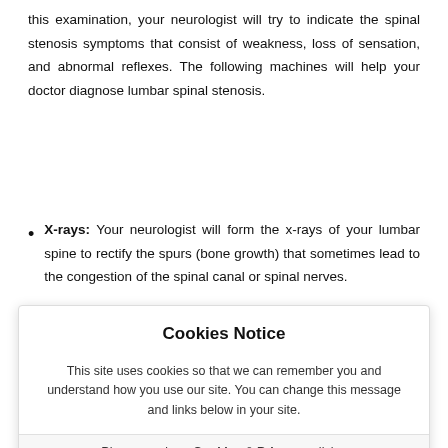this examination, your neurologist will try to indicate the spinal stenosis symptoms that consist of weakness, loss of sensation, and abnormal reflexes. The following machines will help your doctor diagnose lumbar spinal stenosis.
X-rays: Your neurologist will form the x-rays of your lumbar spine to rectify the spurs (bone growth) that sometimes lead to the congestion of the spinal canal or spinal nerves.
[Figure (screenshot): Cookies Notice modal overlay with title 'Cookies Notice', body text about cookie usage, a footer with 'Please read our Cookies & Privacy policies', and an 'I Agree' red button.]